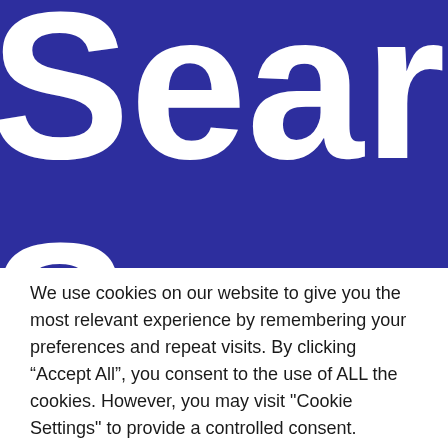[Figure (other): Large white bold text on dark blue background showing partial words 'Sear' on top line and 'Serv' on bottom line, cropped at edges]
We use cookies on our website to give you the most relevant experience by remembering your preferences and repeat visits. By clicking “Accept All”, you consent to the use of ALL the cookies. However, you may visit "Cookie Settings" to provide a controlled consent.
Cookie Settings
Accept All